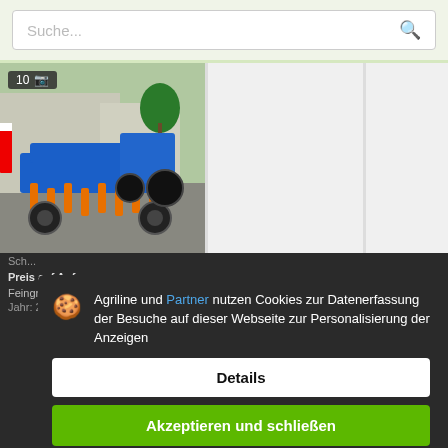[Figure (screenshot): Search bar with placeholder text 'Suche...' and a search icon on the right]
[Figure (photo): Agricultural machinery - blue cultivator/Feingrubber equipment with orange tines in a yard. Photo count badge shows '10' with camera icon.]
Preis auf Anfrage
Feingrubber
Jahr: 2019
Agriline und Partner nutzen Cookies zur Datenerfassung der Besuche auf dieser Webseite zur Personalisierung der Anzeigen
Details
Akzeptieren und schließen